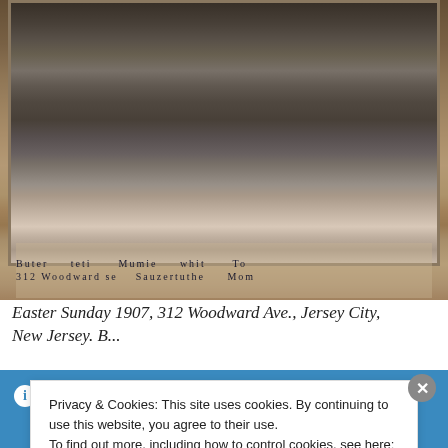[Figure (photo): Sepia-toned antique photograph from 1907 showing a group of people standing outdoors, with handwritten annotations below the image identifying individuals and an address (312 Woodward Ave).]
Easter Sunday 1907, 312 Woodward Ave., Jersey City, New Jersey. People depicted include Charlotte Williams and B...
This is an example of a sitewide notice - you can change or remove this text in the Customizer
Privacy & Cookies: This site uses cookies. By continuing to use this website, you agree to their use.
To find out more, including how to control cookies, see here:
Cookie Policy
Close and accept